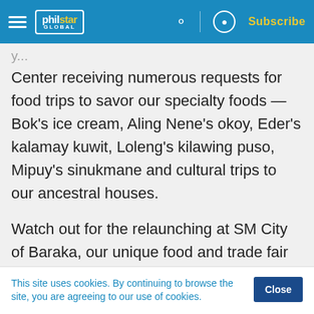philstar GLOBAL — Subscribe
Center receiving numerous requests for food trips to savor our specialty foods — Bok's ice cream, Aling Nene's okoy, Eder's kalamay kuwit, Loleng's kilawing puso, Mipuy's sinukmane and cultural trips to our ancestral houses.
Watch out for the relaunching at SM City of Baraka, our unique food and trade fair launched in April 2002 by the Rotary Club of Santa Rosa Centro (with charter president Chit L. Lijauco) and the Santa Rosa Medical Society (with Dr.
This site uses cookies. By continuing to browse the site, you are agreeing to our use of cookies.